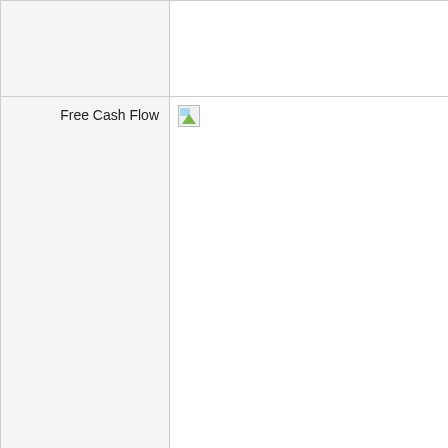| Metric | Chart |
| --- | --- |
|  |  |
| Free Cash Flow | [image] |
| Profitability |  |
| EBITDA |  |
| Return on Assets % |  |